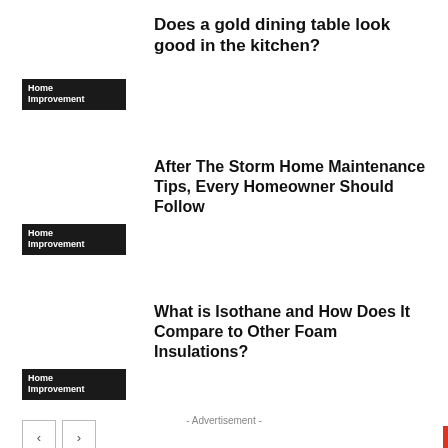Does a gold dining table look good in the kitchen?
Home Improvement
After The Storm Home Maintenance Tips, Every Homeowner Should Follow
Home Improvement
What is Isothane and How Does It Compare to Other Foam Insulations?
Home Improvement
- Advertisement -